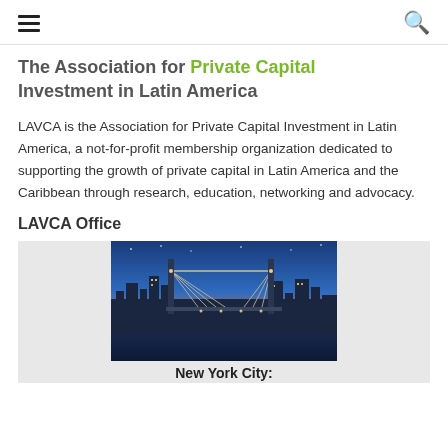☰  🔍
The Association for Private Capital Investment in Latin America
LAVCA is the Association for Private Capital Investment in Latin America, a not-for-profit membership organization dedicated to supporting the growth of private capital in Latin America and the Caribbean through research, education, networking and advocacy.
LAVCA Office
[Figure (photo): Photo of New York City skyline at dusk with Brooklyn Bridge lit up in foreground]
New York City: